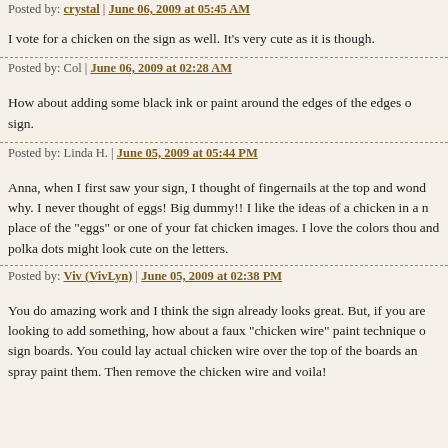Posted by: crystal | June 06, 2009 at 05:45 AM
I vote for a chicken on the sign as well. It's very cute as it is though.
Posted by: Col | June 06, 2009 at 02:28 AM
How about adding some black ink or paint around the edges of the edges of the sign.
Posted by: Linda H. | June 05, 2009 at 05:44 PM
Anna, when I first saw your sign, I thought of fingernails at the top and wondered why. I never thought of eggs! Big dummy!! I like the ideas of a chicken in a place of the "eggs" or one of your fat chicken images. I love the colors though and polka dots might look cute on the letters.
Posted by: Viv (VivLyn) | June 05, 2009 at 02:38 PM
You do amazing work and I think the sign already looks great. But, if you are looking to add something, how about a faux "chicken wire" paint technique on the sign boards. You could lay actual chicken wire over the top of the boards and spray paint them. Then remove the chicken wire and voila!